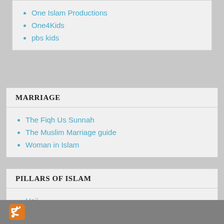One Islam Productions
One4Kids
pbs kids
MARRIAGE
The Fiqh Us Sunnah
The Muslim Marriage guide
Woman in Islam
PILLARS OF ISLAM
Hajj
islam house
Islam Info.